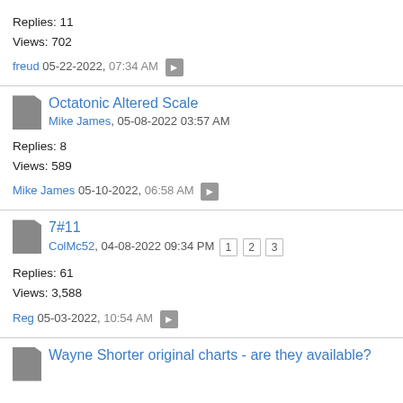Replies: 11
Views: 702
freud 05-22-2022, 07:34 AM
Octatonic Altered Scale
Mike James, 05-08-2022 03:57 AM
Replies: 8
Views: 589
Mike James 05-10-2022, 06:58 AM
7#11
ColMc52, 04-08-2022 09:34 PM  1 2 3
Replies: 61
Views: 3,588
Reg 05-03-2022, 10:54 AM
Wayne Shorter original charts - are they available?